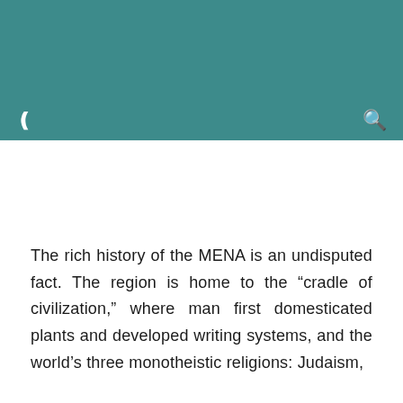The rich history of the MENA is an undisputed fact. The region is home to the “cradle of civilization,” where man first domesticated plants and developed writing systems, and the world’s three monotheistic religions: Judaism,